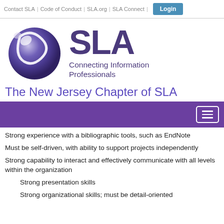Contact SLA | Code of Conduct | SLA.org | SLA Connect | Login
[Figure (logo): SLA logo with purple globe and text 'SLA Connecting Information Professionals']
The New Jersey Chapter of SLA
Strong experience with a bibliographic tools, such as EndNote
Must be self-driven, with ability to support projects independently
Strong capability to interact and effectively communicate with all levels within the organization
Strong presentation skills
Strong organizational skills; must be detail-oriented